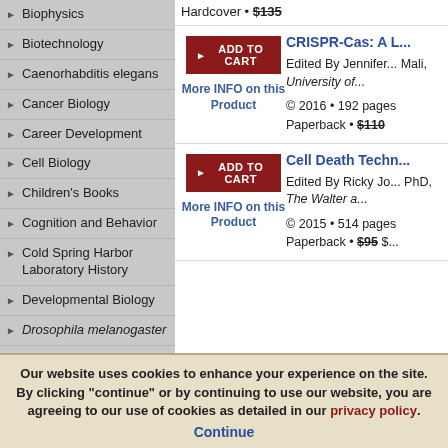Biophysics
Biotechnology
Caenorhabditis elegans
Cancer Biology
Career Development
Cell Biology
Children's Books
Cognition and Behavior
Cold Spring Harbor Laboratory History
Developmental Biology
Drosophila melanogaster
Gene Therapy
General Interest Titles
Genetics
Genomics
© 2016 • 384 pages
Hardcover • $135
CRISPR-Cas: A L...
Edited By Jennifer... Mali, University of...
© 2016 • 192 pages
Paperback • $110
Cell Death Techn...
Edited By Ricky Jo... PhD, The Walter a...
© 2015 • 514 pages
Paperback • $95
Our website uses cookies to enhance your experience on the site. By clicking "continue" or by continuing to use our website, you are agreeing to our use of cookies as detailed in our privacy policy. Continue